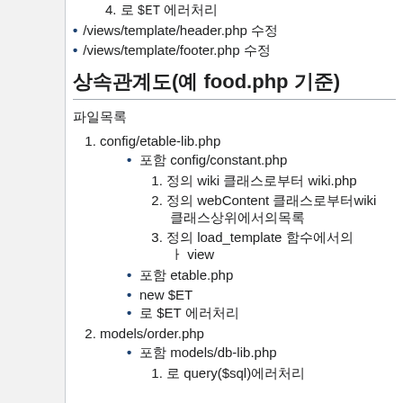4. 로 $ET 에러처리
/views/template/header.php 수정
/views/template/footer.php 수정
상속관계도(예 food.php 기준)
파일목록
1. config/etable-lib.php
포함 config/constant.php
1. 정의 wiki 클래스로부터 wiki.php
2. 정의 webContent 클래스로부터wiki 클래스상위에서의목록
3. 정의 load_template 함수에서의 ㅏ view
포함 etable.php
new $ET
로 $ET 에러처리
2. models/order.php
포함 models/db-lib.php
1. 로 query($sql)에러처리